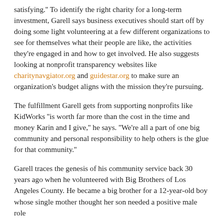satisfying.'' To identify the right charity for a long-term investment, Garell says business executives should start off by doing some light volunteering at a few different organizations to see for themselves what their people are like, the activities they're engaged in and how to get involved. He also suggests looking at nonprofit transparency websites like charitynavgiator.org and guidestar.org to make sure an organization's budget aligns with the mission they're pursuing.
The fulfillment Garell gets from supporting nonprofits like KidWorks ''is worth far more than the cost in the time and money Karin and I give,'' he says. ''We're all a part of one big community and personal responsibility to help others is the glue for that community.''
Garell traces the genesis of his community service back 30 years ago when he volunteered with Big Brothers of Los Angeles County. He became a big brother for a 12-year-old boy whose single mother thought her son needed a positive male role